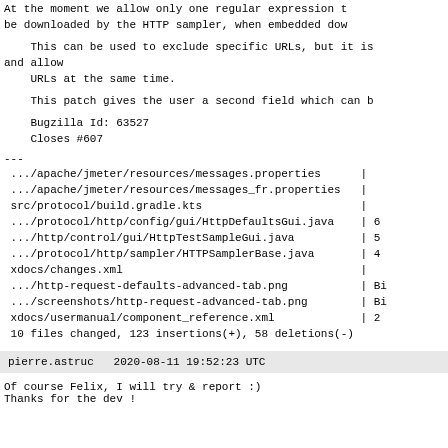At the moment we allow only one regular expression to be downloaded by the HTTP sampler, when embedded dow
This can be used to exclude specific URLs, but it is
and allow
    URLs at the same time.
This patch gives the user a second field which can b
Bugzilla Id: 63527
    Closes #607
---
 .../apache/jmeter/resources/messages.properties      |
 .../apache/jmeter/resources/messages_fr.properties   |
 src/protocol/build.gradle.kts                        |
 .../protocol/http/config/gui/HttpDefaultsGui.java    | 6
 .../http/control/gui/HttpTestSampleGui.java          | 5
 .../protocol/http/sampler/HTTPSamplerBase.java       | 4
 xdocs/changes.xml                                    |
 .../http-request-defaults-advanced-tab.png           | Bi
 .../screenshots/http-request-advanced-tab.png        | Bi
 xdocs/usermanual/component_reference.xml             | 2
 10 files changed, 123 insertions(+), 58 deletions(-)
pierre.astruc   2020-08-11 19:52:23 UTC
Of course Felix, I will try & report :)
Thanks for the dev !